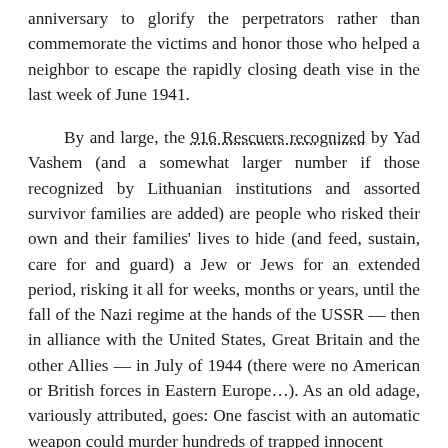anniversary to glorify the perpetrators rather than commemorate the victims and honor those who helped a neighbor to escape the rapidly closing death vise in the last week of June 1941.
By and large, the 916 Rescuers recognized by Yad Vashem (and a somewhat larger number if those recognized by Lithuanian institutions and assorted survivor families are added) are people who risked their own and their families' lives to hide (and feed, sustain, care for and guard) a Jew or Jews for an extended period, risking it all for weeks, months or years, until the fall of the Nazi regime at the hands of the USSR — then in alliance with the United States, Great Britain and the other Allies — in July of 1944 (there were no American or British forces in Eastern Europe…). As an old adage, variously attributed, goes: One fascist with an automatic weapon could murder hundreds of trapped innocent